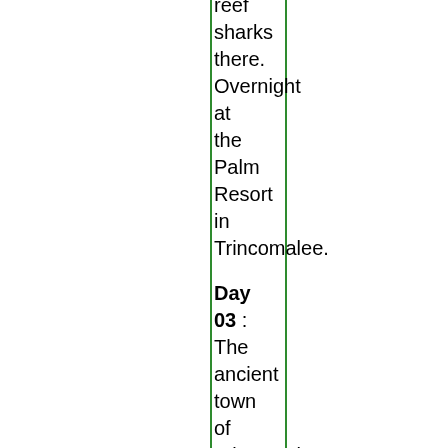reef sharks there. Overnight at the Palm Resort in Trincomalee.
Day 03 : The ancient town of Trincomalee is the...